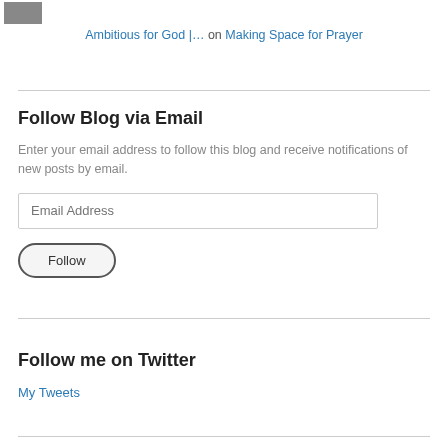[Figure (photo): Small thumbnail image, dark tones, landscape or person photo]
Ambitious for God |… on Making Space for Prayer
Follow Blog via Email
Enter your email address to follow this blog and receive notifications of new posts by email.
Email Address
Follow
Follow me on Twitter
My Tweets